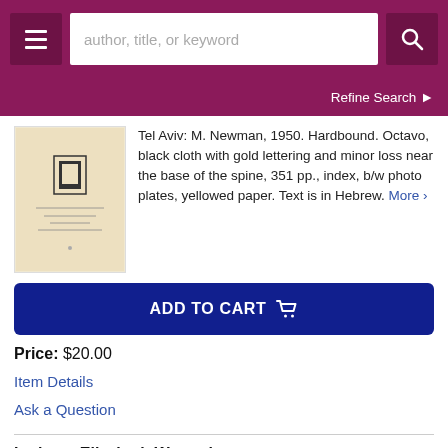[Figure (screenshot): Website header with hamburger menu, search bar with placeholder 'author, title, or keyword', and search icon button on dark magenta background]
Refine Search ›
[Figure (photo): Book cover thumbnail with beige/cream background and dark symbol/logo]
Tel Aviv: M. Newman, 1950. Hardbound. Octavo, black cloth with gold lettering and minor loss near the base of the spine, 351 pp., index, b/w photo plates, yellowed paper. Text is in Hebrew. More ›
ADD TO CART
Price: $20.00
Item Details
Ask a Question
Latimer, Elizabeth Wormeley.